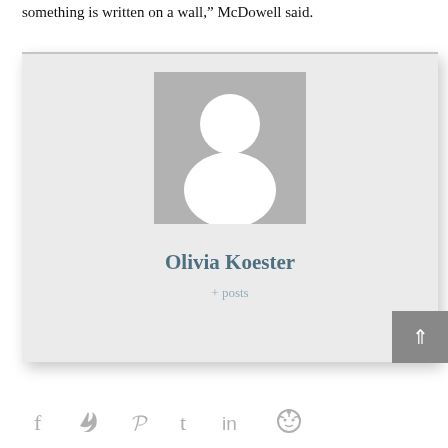something is written on a wall," McDowell said.
[Figure (illustration): Author profile card with generic person silhouette avatar, name 'Olivia Koester' and '+ posts' link on a light gray background]
Olivia Koester
+ posts
[Figure (other): Social sharing icons row: Facebook (f), Twitter (bird), Pinterest (P), Tumblr (t), LinkedIn (in), Reddit (alien)]